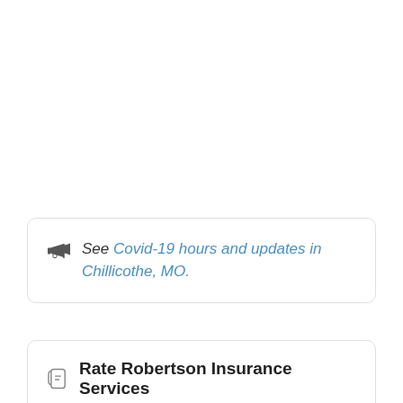See Covid-19 hours and updates in Chillicothe, MO.
Rate Robertson Insurance Services